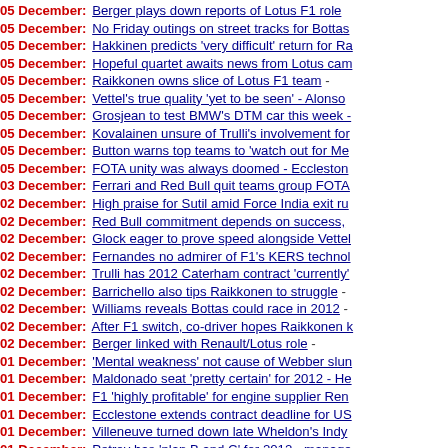05 December: Berger plays down reports of Lotus F1 role
05 December: No Friday outings on street tracks for Bottas
05 December: Hakkinen predicts 'very difficult' return for Ra
05 December: Hopeful quartet awaits news from Lotus cam
05 December: Raikkonen owns slice of Lotus F1 team -
05 December: Vettel's true quality 'yet to be seen' - Alonso
05 December: Grosjean to test BMW's DTM car this week -
05 December: Kovalainen unsure of Trulli's involvement for
05 December: Button warns top teams to 'watch out for Me
05 December: FOTA unity was always doomed - Eccleston
03 December: Ferrari and Red Bull quit teams group FOTA
02 December: High praise for Sutil amid Force India exit ru
02 December: Red Bull commitment depends on success,
02 December: Glock eager to prove speed alongside Vettel
02 December: Fernandes no admirer of F1's KERS technol
02 December: Trulli has 2012 Caterham contract 'currently'
02 December: Barrichello also tips Raikkonen to struggle -
02 December: Williams reveals Bottas could race in 2012 -
02 December: After F1 switch, co-driver hopes Raikkonen k
02 December: Berger linked with Renault/Lotus role -
01 December: 'Mental weakness' not cause of Webber slun
01 December: Maldonado seat 'pretty certain' for 2012 - He
01 December: F1 'highly profitable' for engine supplier Ren
01 December: Ecclestone extends contract deadline for US
01 December: Villeneuve turned down late Wheldon's Indy
01 December: Petrov has 'plan B and C' for 2012 - manage
01 December: Female driver de Villota close to 2012 Rena
01 December: Five teams yet to confirm drivers - FIA -
01 December: Returning Raikkonen left F1 too soon - mana
01 December: Honda denies F1 return rumours -